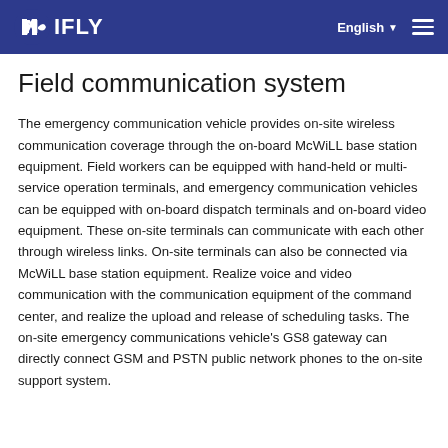NIFLY  English  ☰
Field communication system
The emergency communication vehicle provides on-site wireless communication coverage through the on-board McWiLL base station equipment. Field workers can be equipped with hand-held or multi-service operation terminals, and emergency communication vehicles can be equipped with on-board dispatch terminals and on-board video equipment. These on-site terminals can communicate with each other through wireless links. On-site terminals can also be connected via McWiLL base station equipment. Realize voice and video communication with the communication equipment of the command center, and realize the upload and release of scheduling tasks. The on-site emergency communications vehicle's GS8 gateway can directly connect GSM and PSTN public network phones to the on-site support system.